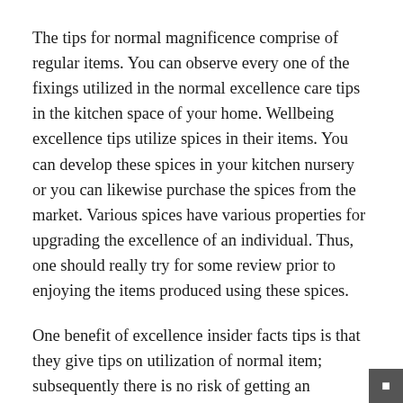The tips for normal magnificence comprise of regular items. You can observe every one of the fixings utilized in the normal excellence care tips in the kitchen space of your home. Wellbeing excellence tips utilize spices in their items. You can develop these spices in your kitchen nursery or you can likewise purchase the spices from the market. Various spices have various properties for upgrading the excellence of an individual. Thus, one should really try for some review prior to enjoying the items produced using these spices.
One benefit of excellence insider facts tips is that they give tips on utilization of normal item; subsequently there is no risk of getting an incidental effect. On the off chance that you are utilizing beauty care products